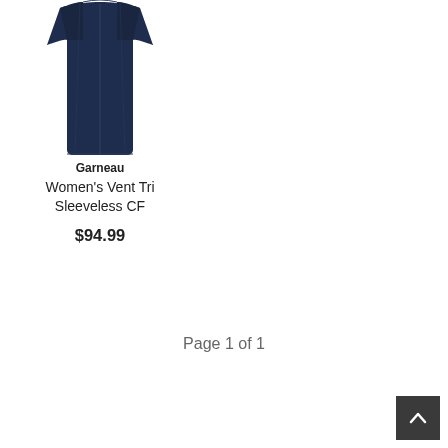[Figure (photo): Navy blue sleeveless cycling/triathlon vest (Garneau Women's Vent Tri Sleeveless CF) displayed on white background, showing front view with center seam detail]
Garneau
Women's Vent Tri Sleeveless CF
$94.99
Page 1 of 1